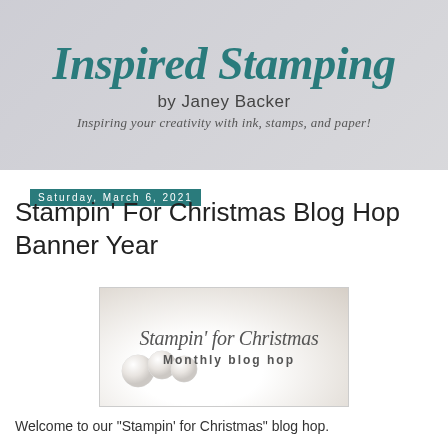Inspired Stamping by Janey Backer — Inspiring your creativity with ink, stamps, and paper!
Saturday, March 6, 2021
Stampin' For Christmas Blog Hop Banner Year
[Figure (illustration): Stampin' for Christmas Monthly blog hop banner image with pearl ornaments on white fluffy background]
Welcome to our "Stampin' for Christmas" blog hop.